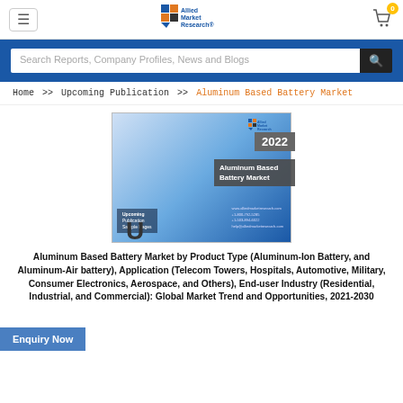Allied Market Research - Navigation bar with logo, hamburger menu, and cart icon (0 items)
Search Reports, Company Profiles, News and Blogs
Home >> Upcoming Publication >> Aluminum Based Battery Market
[Figure (illustration): Report cover image for Aluminum Based Battery Market 2022 with Allied Market Research logo, year badge '2022', title overlay 'Aluminum Based Battery Market', and 'U' letter at bottom left]
Enquiry Now
Aluminum Based Battery Market by Product Type (Aluminum-Ion Battery, and Aluminum-Air battery), Application (Telecom Towers, Hospitals, Automotive, Military, Consumer Electronics, Aerospace, and Others), End-user Industry (Residential, Industrial, and Commercial): Global Market Trend and Opportunities, 2021-2030